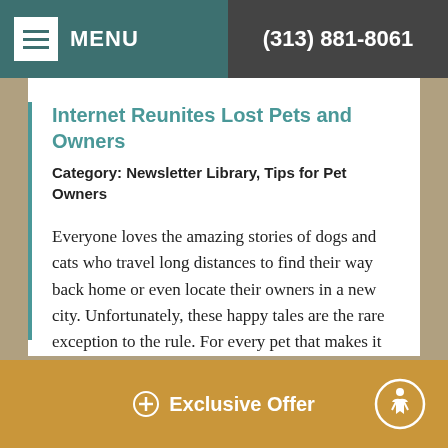MENU  (313) 881-8061
Internet Reunites Lost Pets and Owners
Category: Newsletter Library, Tips for Pet Owners
Everyone loves the amazing stories of dogs and cats who travel long distances to find their way back home or even locate their owners in a new city. Unfortunately, these happy tales are the rare exception to the rule. For every pet that makes it back after leaving, there are tens of thousands who
Read more
Exclusive Offer